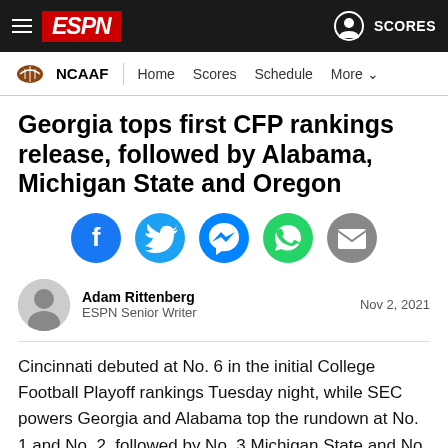ESPN NCAAF | Home Scores Schedule More
Georgia tops first CFP rankings release, followed by Alabama, Michigan State and Oregon
[Figure (illustration): Row of five social media share icons: Facebook (blue), Twitter (light blue), Messenger (blue), WhatsApp (green), Email (gray)]
Adam Rittenberg ESPN Senior Writer | Nov 2, 2021
Cincinnati debuted at No. 6 in the initial College Football Playoff rankings Tuesday night, while SEC powers Georgia and Alabama top the rundown at No. 1 and No. 2, followed by No. 3 Michigan State and No. 4 Oregon.